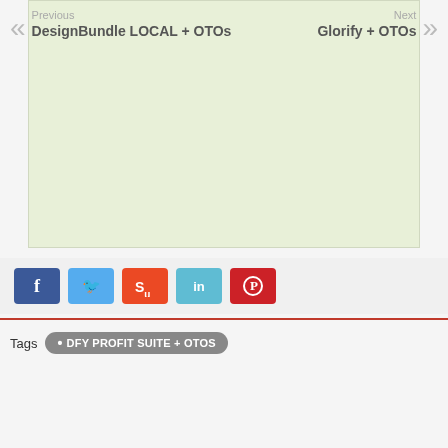[Figure (other): Light green placeholder/content image area]
Social share buttons: Facebook, Twitter, StumbleUpon, LinkedIn, Pinterest
Tags  • DFY PROFIT SUITE + OTOS
Previous
DesignBundle LOCAL + OTOs
Next
Glorify + OTOs